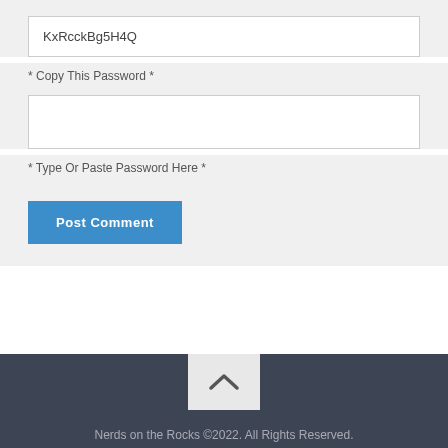KxRcckBg5H4Q
* Copy This Password *
* Type Or Paste Password Here *
Post Comment
[Figure (illustration): Scroll-to-top button with upward chevron arrow]
Nerds on the Rocks ©2022. All Rights Reserved.
[Figure (logo): Twitter and Facebook social media icons]